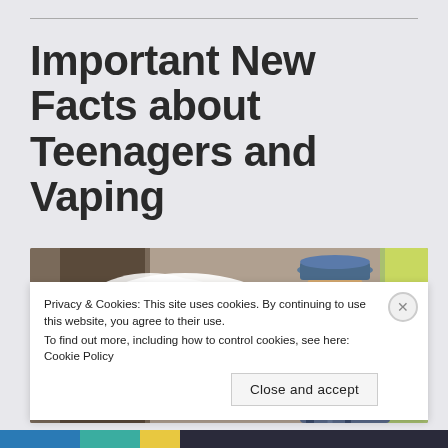Important New Facts about Teenagers and Vaping
[Figure (photo): Teenage boy wearing a hat exhaling a large cloud of vapor/smoke from vaping, photographed outdoors]
Privacy & Cookies: This site uses cookies. By continuing to use this website, you agree to their use.
To find out more, including how to control cookies, see here: Cookie Policy
Close and accept